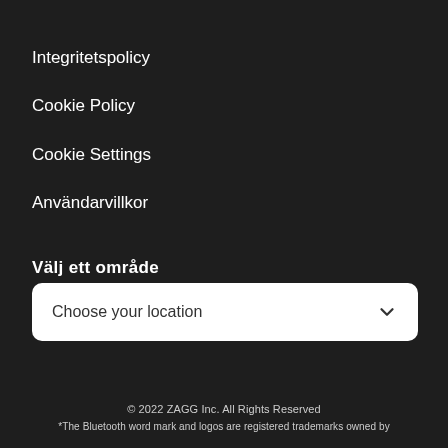Integritetspolicy
Cookie Policy
Cookie Settings
Användarvillkor
Välj ett område
Choose your location
© 2022 ZAGG Inc. All Rights Reserved
The Bluetooth word mark and logos are registered trademarks owned by